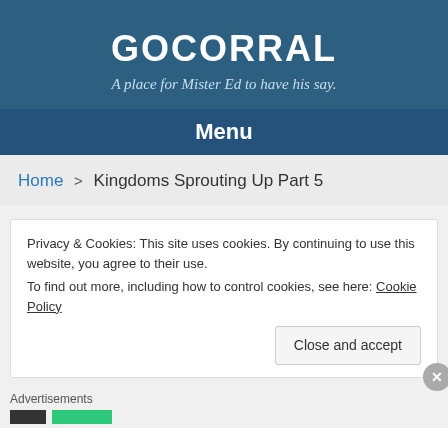GOCORRAL
A place for Mister Ed to have his say.
Menu
Home > Kingdoms Sprouting Up Part 5
Privacy & Cookies: This site uses cookies. By continuing to use this website, you agree to their use.
To find out more, including how to control cookies, see here: Cookie Policy
Close and accept
Advertisements